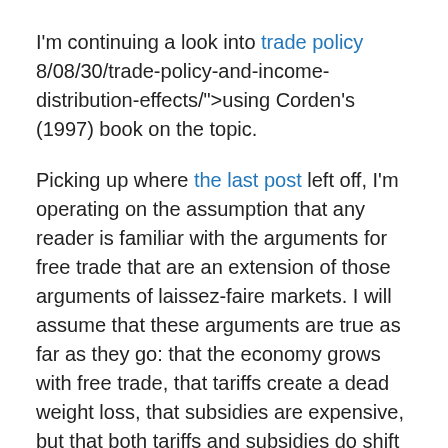I'm continuing a look into trade policy 8/08/30/trade-policy-and-income-distribution-effects/">using Corden's (1997) book on the topic.
Picking up where the last post left off, I'm operating on the assumption that any reader is familiar with the arguments for free trade that are an extension of those arguments of laissez-faire markets. I will assume that these arguments are true as far as they go: that the economy grows with free trade, that tariffs create a dead weight loss, that subsidies are expensive, but that both tariffs and subsidies do shift the market towards imports.
The question raised by Corden is why, despite its deleterious effects on the economy as a whole, protectionism enjoys political support by some sectors of the economy. His conclusion is Corden's 'Conservative Social Welfare Function'.